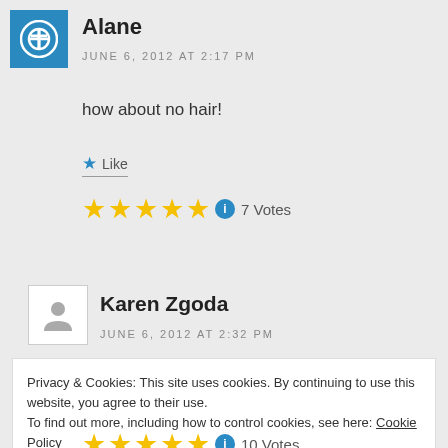Alane
JUNE 6, 2012 AT 2:17 PM
how about no hair!
Like
★★★★★ ℹ 7 Votes
Karen Zgoda
JUNE 6, 2012 AT 2:32 PM
Privacy & Cookies: This site uses cookies. By continuing to use this website, you agree to their use.
To find out more, including how to control cookies, see here: Cookie Policy
Close and accept
★★★★★ ℹ 10 Votes